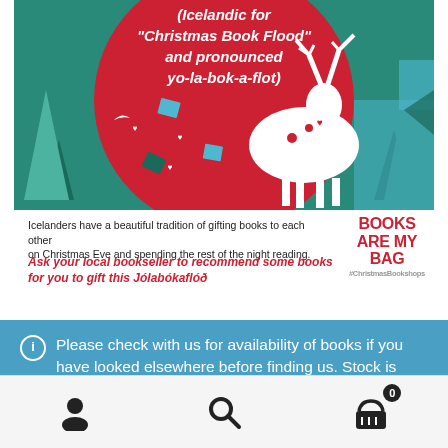[Figure (illustration): Jólabókaflóð promotional poster showing a decorative white reindeer against a red circle and teal background with scattered illustrated books, pine trees, and birds. Text reads '(Icelandic for "Christmas Book Flood" and pronounced yo-la-bok-a-flot)'. Bottom section on white background says 'Icelanders have a beautiful tradition of gifting books to each other on Christmas Eve and spending the rest of the night reading.' and in red italic 'Ask your local bookseller to recommend some books for you to gift this Jólabókaflóð'. 'BOOKS ARE MY BAG' badge in top right of bottom section.]
Please check with us for availability of books if you have looked elsewhere before finding us. Stock is updated manually, and some items may have been missed!
Dismiss